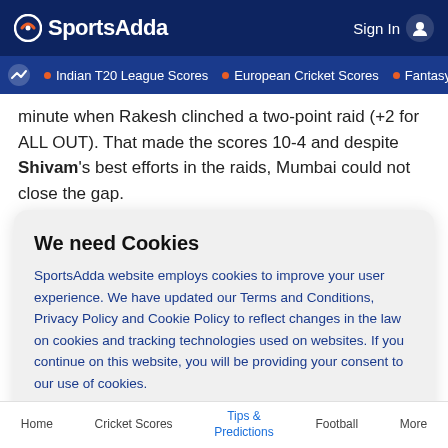[Figure (logo): SportsAdda logo with icon on dark blue header background, Sign In button top right]
Indian T20 League Scores • European Cricket Scores • Fantasy C
minute when Rakesh clinched a two-point raid (+2 for ALL OUT). That made the scores 10-4 and despite Shivam's best efforts in the raids, Mumbai could not close the gap.
We need Cookies
SportsAdda website employs cookies to improve your user experience. We have updated our Terms and Conditions, Privacy Policy and Cookie Policy to reflect changes in the law on cookies and tracking technologies used on websites. If you continue on this website, you will be providing your consent to our use of cookies.
Agree
Home   Cricket Scores   Tips & Predictions   Football   More